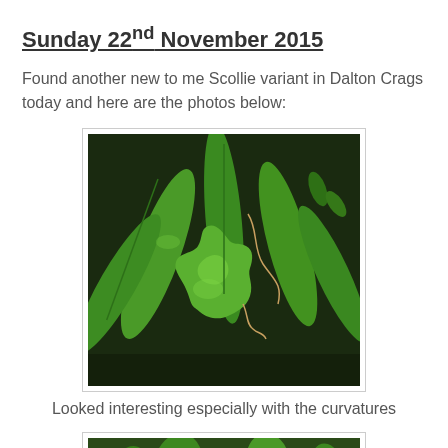Sunday 22nd November 2015
Found another new to me Scollie variant in Dalton Crags today and here are the photos below:
[Figure (photo): Close-up photograph of fern/scollie plant fronds showing green leaves with wavy and lobed curvatures, photographed in Dalton Crags. Dark soil and other vegetation visible in background.]
Looked interesting especially with the curvatures
[Figure (photo): Second photograph of the scollie plant variant, partially visible at bottom of page.]